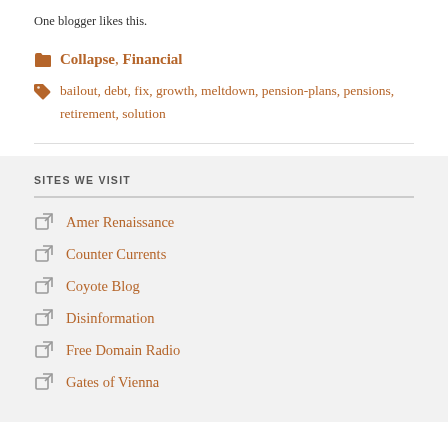One blogger likes this.
Collapse, Financial
bailout, debt, fix, growth, meltdown, pension-plans, pensions, retirement, solution
SITES WE VISIT
Amer Renaissance
Counter Currents
Coyote Blog
Disinformation
Free Domain Radio
Gates of Vienna